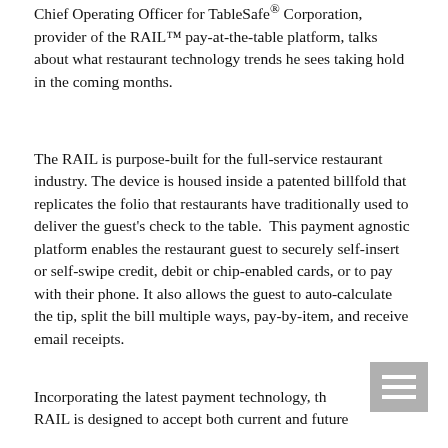Chief Operating Officer for TableSafe® Corporation, provider of the RAIL™ pay-at-the-table platform, talks about what restaurant technology trends he sees taking hold in the coming months.
The RAIL is purpose-built for the full-service restaurant industry. The device is housed inside a patented billfold that replicates the folio that restaurants have traditionally used to deliver the guest's check to the table.  This payment agnostic platform enables the restaurant guest to securely self-insert or self-swipe credit, debit or chip-enabled cards, or to pay with their phone. It also allows the guest to auto-calculate the tip, split the bill multiple ways, pay-by-item, and receive email receipts.
Incorporating the latest payment technology, the RAIL is designed to accept both current and future